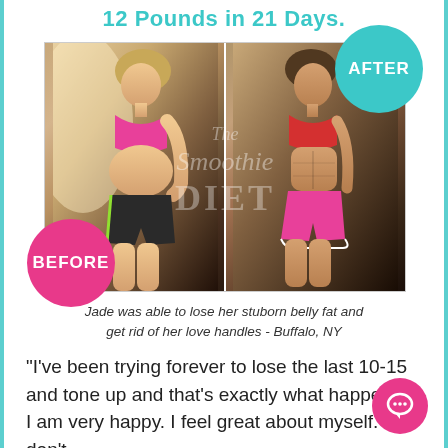12 Pounds in 21 Days.
[Figure (photo): Before and after side-by-side photos of a woman named Jade showing body transformation. Left photo shows 'before' with a pink sports bra and dark shorts with neon green trim. Right photo shows 'after' with a red sports bra and pink shorts. A 'BEFORE' badge in pink is on the lower left and an 'AFTER' badge in teal is on the upper right. A 'The Smoothie Diet' watermark overlays the center.]
Jade was able to lose her stuborn belly fat and get rid of her love handles - Buffalo, NY
"I've been trying forever to lose the last 10-15 and tone up and that's exactly what happened. I am very happy. I feel great about myself. I don't